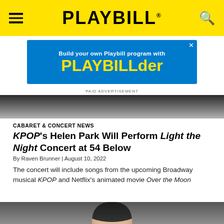PLAYBILL
[Figure (screenshot): Playbill advertisement banner: Build your own Playbill program with PLAYBILLder]
PAID ADVERTISEMENT
[Figure (photo): Top portion of a photo, dark background with light colored fabric/clothing visible]
CABARET & CONCERT NEWS
KPOP's Helen Park Will Perform Light the Night Concert at 54 Below
By Raven Brunner | August 10, 2022
The concert will include songs from the upcoming Broadway musical KPOP and Netflix's animated movie Over the Moon
[Figure (photo): Bottom portion of a person with dark hair against a gray background]